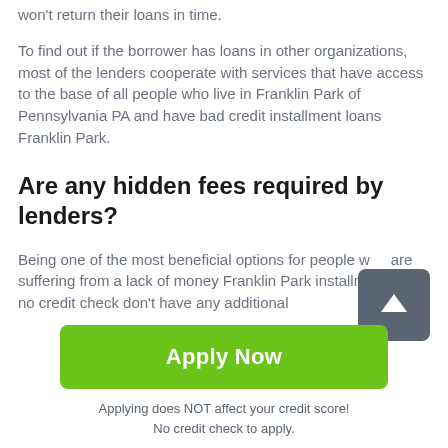won't return their loans in time.
To find out if the borrower has loans in other organizations, most of the lenders cooperate with services that have access to the base of all people who live in Franklin Park of Pennsylvania PA and have bad credit installment loans Franklin Park.
Are any hidden fees required by lenders?
Being one of the most beneficial options for people who are suffering from a lack of money Franklin Park installment loans no credit check don't have any additional
Apply Now
Applying does NOT affect your credit score!
No credit check to apply.